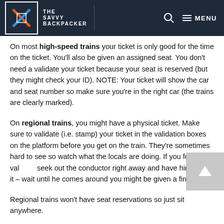THE SAVVY BACKPACKER
On most high-speed trains your ticket is only good for the time on the ticket. You'll also be given an assigned seat. You don't need a validate your ticket because your seat is reserved (but they might check your ID). NOTE: Your ticket will show the car and seat number so make sure you're in the right car (the trains are clearly marked).
On regional trains, you might have a physical ticket. Make sure to validate (i.e. stamp) your ticket in the validation boxes on the platform before you get on the train. They're sometimes hard to see so watch what the locals are doing. If you forget to val— seek out the conductor right away and have him stamp it – wait until he comes around you might be given a fine.
Regional trains won't have seat reservations so just sit anywhere.
Once you're on the train the conductor will eventually walk